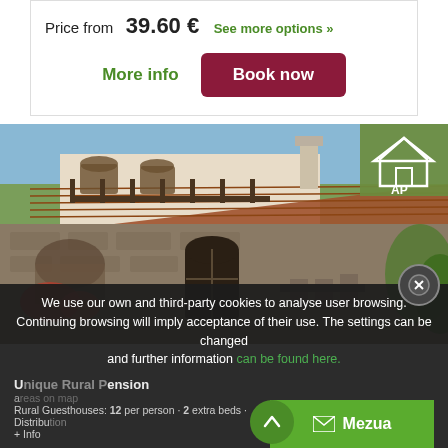Price from  39.60 €  See more options »
More info
Book now
[Figure (photo): Exterior photo of a rural stone guesthouse with terracotta roof tiles, wooden balconies, arched doorways, outdoor seating, and surrounding greenery. An AP badge is overlaid in the top-right corner.]
We use our own and third-party cookies to analyse user browsing. Continuing browsing will imply acceptance of their use. The settings can be changed and further information can be found here.
Unique Rural Pension
Rural Guesthouses: 12 per person · 2 extra beds · Distribution + Info